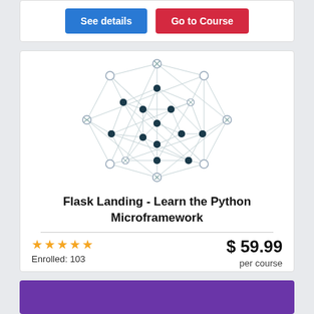[Figure (other): Partial view of a course card with See details (blue) and Go to Course (red) buttons]
[Figure (network-graph): Network graph illustration showing nodes connected by edges in a roughly octagonal arrangement, used as course thumbnail image]
Flask Landing - Learn the Python Microframework
★★★★★  Enrolled: 103   $ 59.99  per course
[Figure (other): See details blue button and Go to Course red button]
[Figure (other): Bottom partial card with purple background]